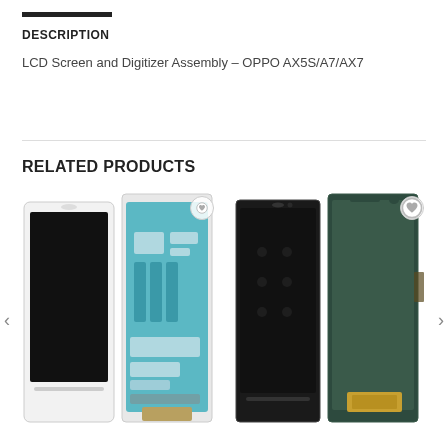DESCRIPTION
LCD Screen and Digitizer Assembly – OPPO AX5S/A7/AX7
RELATED PRODUCTS
[Figure (photo): Product image showing LCD screen with white frame and internal assembly (back view) for a smartphone]
[Figure (photo): Product image showing two LCD screens side by side (black front and dark green back view) for a smartphone]